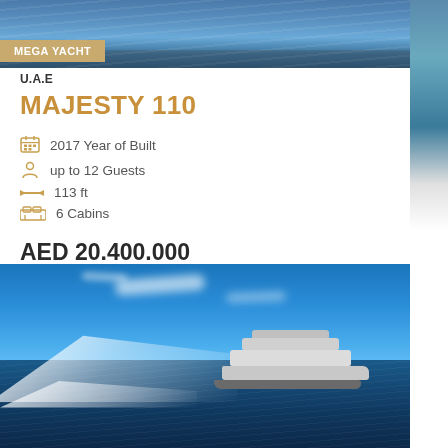[Figure (photo): Ocean/sea surface aerial photo at top of page]
MEGA YACHT
U.A.E
MAJESTY 110
2017 Year of Built
up to 12 Guests
113 ft
6 Cabins
AED 20.400.000
[Figure (photo): Majesty 110 mega yacht sailing at speed on ocean, aerial view, white wake, blue sky with wispy clouds]